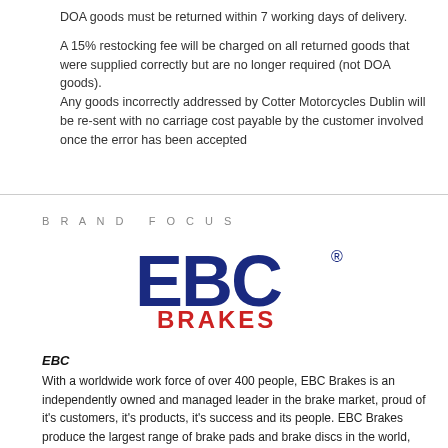DOA goods must be returned within 7 working days of delivery.

A 15% restocking fee will be charged on all returned goods that were supplied correctly but are no longer required (not DOA goods).
Any goods incorrectly addressed by Cotter Motorcycles Dublin will be re-sent with no carriage cost payable by the customer involved once the error has been accepted
BRAND FOCUS
[Figure (logo): EBC Brakes logo — large blue letters 'EBC' with a registered trademark symbol, and red bold text 'BRAKES' below]
EBC
With a worldwide work force of over 400 people, EBC Brakes is an independently owned and managed leader in the brake market, proud of it's customers, it's products, it's success and its people. EBC Brakes produce the largest range of brake pads and brake discs in the world, with over 5000 part numbers for every type of moving vehicle. EBC Brakes are made in one of its two specialist factories in the UK and USA. The majority of EBC brake discs or brake rotors are also made in the UK.